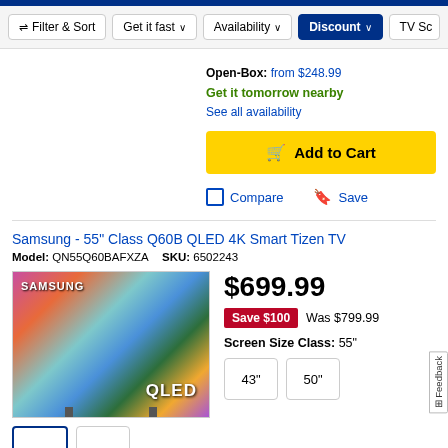Filter & Sort  Get it fast  Availability  Discount  TV Sc
Open-Box: from $248.99
Get it tomorrow nearby
See all availability
Add to Cart
Compare  Save
Samsung - 55" Class Q60B QLED 4K Smart Tizen TV
Model: QN55Q60BAFXZA  SKU: 6502243
[Figure (photo): Samsung 55-inch Q60B QLED TV product image with colorful abstract display and QLED branding]
$699.99
Save $100  Was $799.99
Screen Size Class: 55"
43"  50"